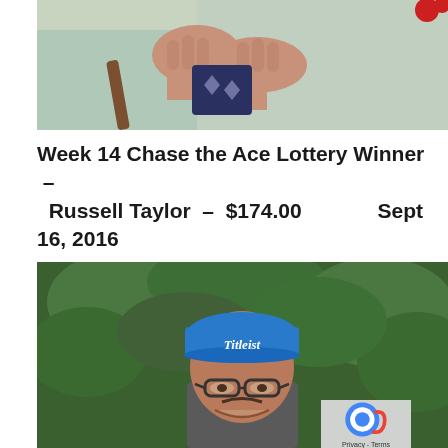[Figure (photo): Close-up photo of hands holding/fidgeting with a dark floral patterned item, wearing a light blue/white jacket sleeve, outdoors]
Week 14 Chase the Ace Lottery Winner – Russell Taylor – $174.00   Sept 16, 2016
[Figure (photo): Photo of a man smiling, wearing a blue Titleist golf cap and glasses, standing in front of green hedges/trees]